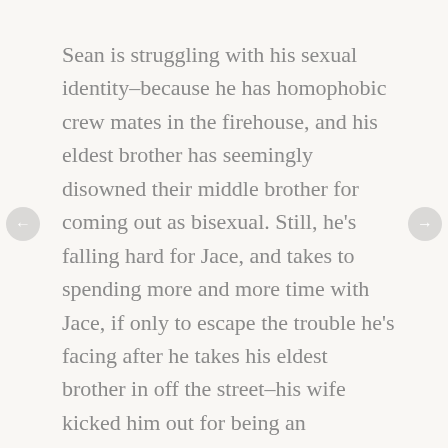Sean is struggling with his sexual identity–because he has homophobic crew mates in the firehouse, and his eldest brother has seemingly disowned their middle brother for coming out as bisexual. Still, he's falling hard for Jace, and takes to spending more and more time with Jace, if only to escape the trouble he's facing after he takes his eldest brother in off the street–his wife kicked him out for being an insufferable pig and a drunk.
Jace hasn't had any relationships in a long time, and what's happening with Sean is feeling like it could be a relationship, if only Sean would come out. Because he won't well, they fight. And it's a short bit of heartbreak. I liked the cast of characters here. Both Sean and Jace are decent guys, and they fall